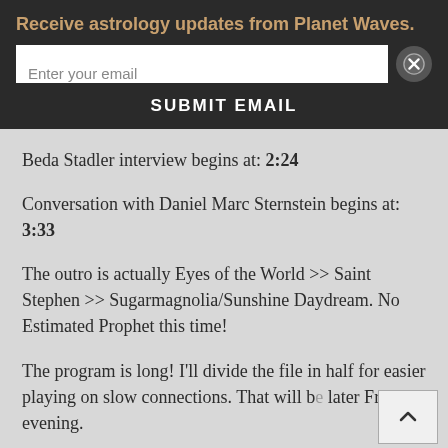Receive astrology updates from Planet Waves.
Beda Stadler interview begins at: 2:24
Conversation with Daniel Marc Sternstein begins at: 3:33
The outro is actually Eyes of the World >> Saint Stephen >> Sugarmagnolia/Sunshine Daydream. No Estimated Prophet this time!
The program is long! I'll divide the file in half for easier playing on slow connections. That will be later Friday evening.